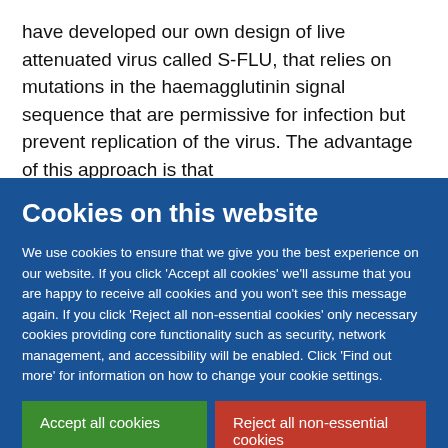have developed our own design of live attenuated virus called S-FLU, that relies on mutations in the haemagglutinin signal sequence that are permissive for infection but prevent replication of the virus. The advantage of this approach is that
Cookies on this website
We use cookies to ensure that we give you the best experience on our website. If you click 'Accept all cookies' we'll assume that you are happy to receive all cookies and you won't see this message again. If you click 'Reject all non-essential cookies' only necessary cookies providing core functionality such as security, network management, and accessibility will be enabled. Click 'Find out more' for information on how to change your cookie settings.
Accept all cookies
Reject all non-essential cookies
Find out more